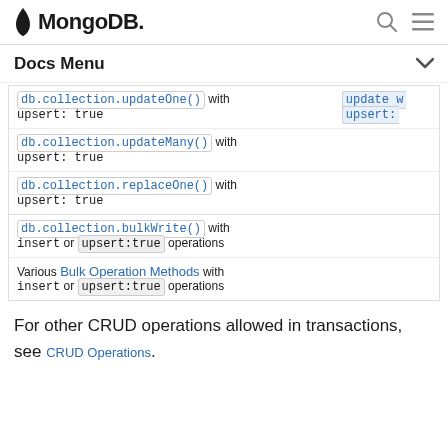MongoDB
Docs Menu
| db.collection.updateOne() with upsert: true | update w... upsert:... |
| db.collection.updateMany() with upsert: true |  |
| db.collection.replaceOne() with upsert: true |  |
| db.collection.bulkWrite() with insert or upsert:true operations |  |
| Various Bulk Operation Methods with insert or upsert:true operations |  |
For other CRUD operations allowed in transactions, see CRUD Operations.